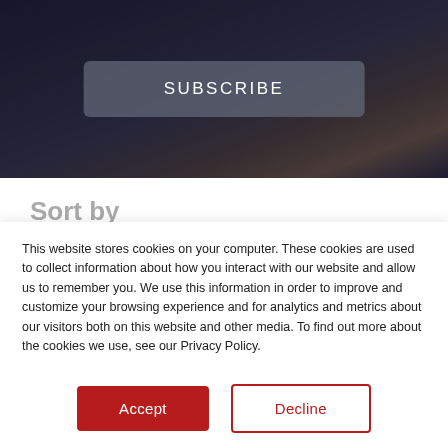[Figure (screenshot): Dark hero image background with blurred sky/water tones (dark blue, brown, orange), with a semi-transparent gray 'SUBSCRIBE' button centered on it.]
Sort by
This website stores cookies on your computer. These cookies are used to collect information about how you interact with our website and allow us to remember you. We use this information in order to improve and customize your browsing experience and for analytics and metrics about our visitors both on this website and other media. To find out more about the cookies we use, see our Privacy Policy.
If you decline, your information won't be tracked when you visit this website. A single cookie will be used in your browser to remember your preference not to be tracked.
Accept
Decline